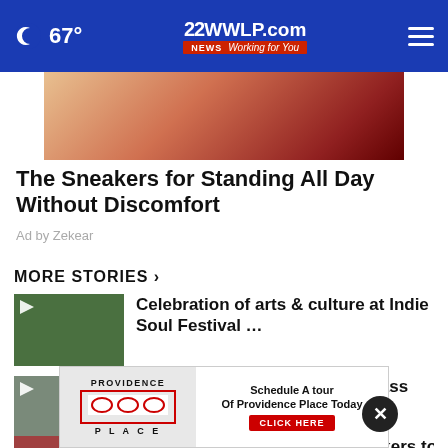67° | 22WWLP.com Working for You
[Figure (photo): Partial image of sneakers on grass, reddish shoe texture visible]
The Sneakers for Standing All Day Without Discomfort
Ad by Zekear
MORE STORIES ›
Celebration of arts & culture at Indie Soul Festival …
Music lovers enjoy MOSSO Brass Quintet concert at …
Vox Church donates new sneakers to …
94th Westfield Fair continues this …
[Figure (photo): Providence Place advertisement banner: Schedule A Tour Of Providence Place Today - CLICK HERE]